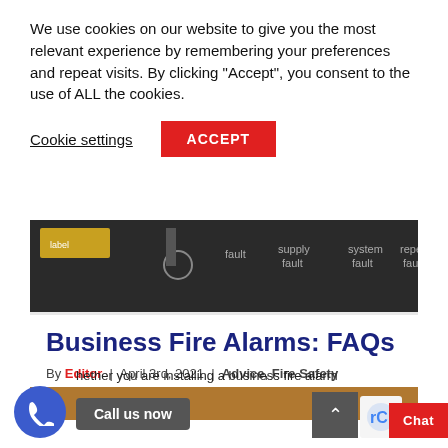We use cookies on our website to give you the most relevant experience by remembering your preferences and repeat visits. By clicking "Accept", you consent to the use of ALL the cookies.
Cookie settings
ACCEPT
[Figure (photo): Close-up photo of a fire alarm panel showing labels: fault, supply fault, system fault, repe fau]
Business Fire Alarms: FAQs
By Editor | April 3rd, 2021 | Advice, Fire Safety
Call us now
hether you are installing a business fire alarm
Chat